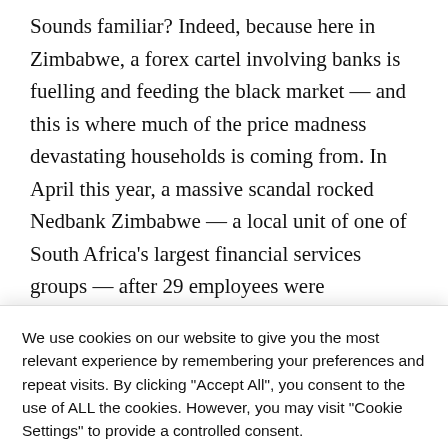Sounds familiar? Indeed, because here in Zimbabwe, a forex cartel involving banks is fuelling and feeding the black market — and this is where much of the price madness devastating households is coming from. In April this year, a massive scandal rocked Nedbank Zimbabwe — a local unit of one of South Africa's largest financial services groups — after 29 employees were
We use cookies on our website to give you the most relevant experience by remembering your preferences and repeat visits. By clicking "Accept All", you consent to the use of ALL the cookies. However, you may visit "Cookie Settings" to provide a controlled consent.